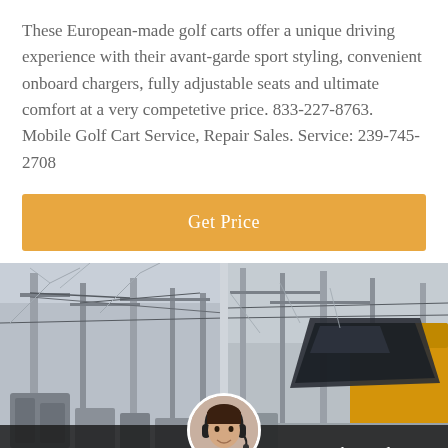These European-made golf carts offer a unique driving experience with their avant-garde sport styling, convenient onboard chargers, fully adjustable seats and ultimate comfort at a very competetive price. 833-227-8763. Mobile Golf Cart Service, Repair Sales. Service: 239-745-2708
[Figure (other): Orange button labeled 'Get Price']
[Figure (photo): Two side-by-side photos of industrial electrical infrastructure (power lines, towers, transformers) with a yellow machine visible on the right. A chat widget with an avatar of a woman wearing a headset overlays the bottom center, with 'Leave Message' on the left and 'Chat Online' on the right on a dark semi-transparent bar.]